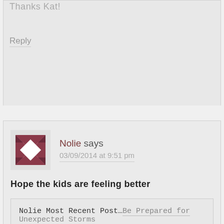Thanks Kat!
Reply
Nolie says
03/09/2014 at 9:51 pm
Hope the kids are feeling better
Nolie Most Recent Post...Be Prepared for Unexpected Storms
Reply